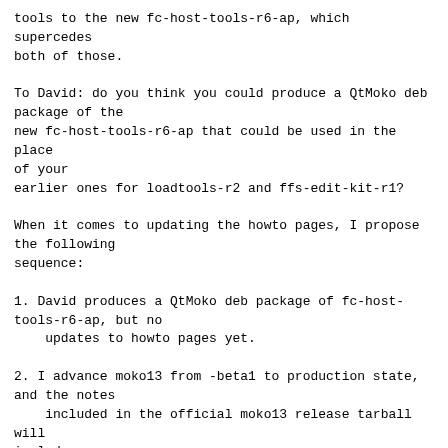tools to the new fc-host-tools-r6-ap, which supercedes both of those.
To David: do you think you could produce a QtMoko deb package of the new fc-host-tools-r6-ap that could be used in the place of your earlier ones for loadtools-r2 and ffs-edit-kit-r1?
When it comes to updating the howto pages, I propose the following sequence:
1. David produces a QtMoko deb package of fc-host-tools-r6-ap, but no
    updates to howto pages yet.
2. I advance moko13 from -beta1 to production state, and the notes
    included in the official moko13 release tarball will include
    installation instructions for both ways: the service shop method
    that uses an external host and a cable, but absolutely no software
    on the AP of the GTA02 except NOR U-Boot, and the QtMoko internal
    method using the new deb package of fc-host-tools-r6-ap from the
    previous step.  I will have David review these notes